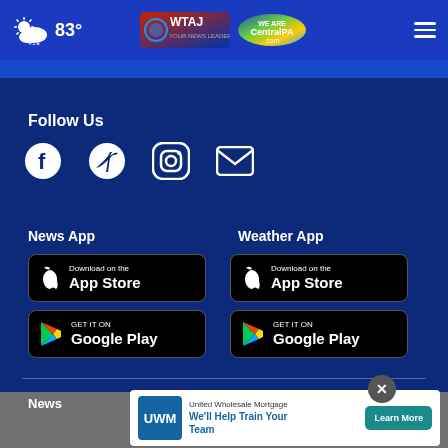83° — WTAJ / CentralPA.com header with weather and navigation
Follow Us
[Figure (other): Social media icons: Facebook, Twitter, Instagram, Email]
News App
[Figure (other): Download on the App Store button (News)]
[Figure (other): Get it on Google Play button (News)]
Weather App
[Figure (other): Download on the App Store button (Weather)]
[Figure (other): Get it on Google Play button (Weather)]
[Figure (other): United Wholesale Mortgage advertisement: We'll Help Train Your Team — Learn More button]